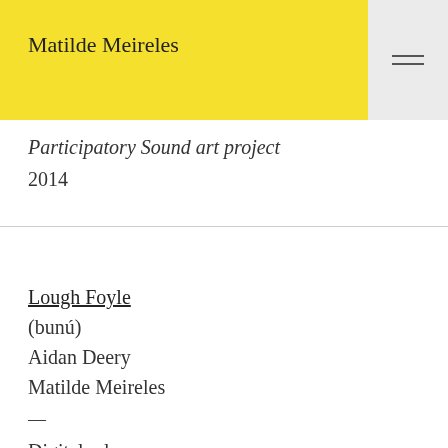Matilde Meireles
Participatory Sound art project
2014
Lough Foyle
(bunú)
Aidan Deery
Matilde Meireles
—
Digital release
2013